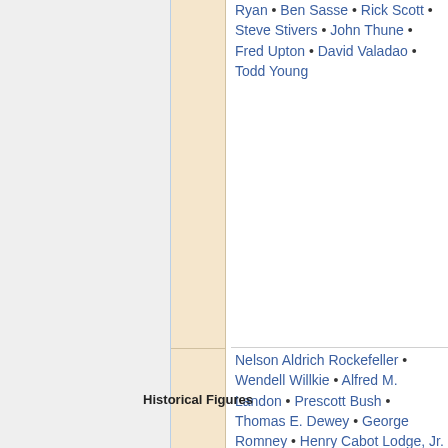Ryan • Ben Sasse • Rick Scott • Steve Stivers • John Thune • Fred Upton • David Valadao • Todd Young
Historical Figures
Nelson Aldrich Rockefeller • Wendell Willkie • Alfred M. Landon • Prescott Bush • Thomas E. Dewey • George Romney • Henry Cabot Lodge, Jr. • Hiram Fong • Jacob Javits • Thomas Kuchel • Joseph W. Martin, Jr. • John McCain • Winthrop Rockefeller